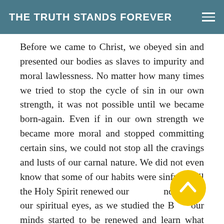THE TRUTH STANDS FOREVER
Before we came to Christ, we obeyed sin and presented our bodies as slaves to impurity and moral lawlessness. No matter how many times we tried to stop the cycle of sin in our own strength, it was not possible until we became born-again. Even if in our own strength we became more moral and stopped committing certain sins, we could not stop all the cravings and lusts of our carnal nature. We did not even know that some of our habits were sinful, until the Holy Spirit renewed our mind and opened our spiritual eyes, as we studied the Bible our minds started to be renewed and learn what was sin and what we had to renounce. The more we think in godly